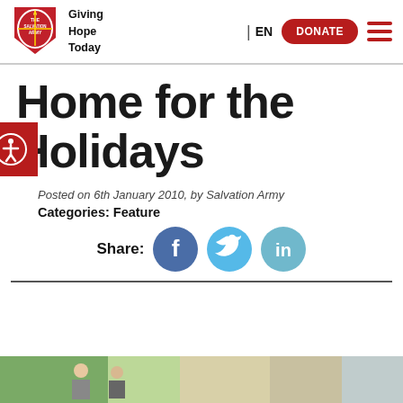[Figure (logo): The Salvation Army shield logo with red background and white text, with 'Giving Hope Today' tagline next to it]
| EN  DONATE  [hamburger menu]
Home for the Holidays
Posted on 6th January 2010, by Salvation Army
Categories: Feature
Share: [Facebook] [Twitter] [LinkedIn]
[Figure (photo): Bottom photo strip showing people outdoors]